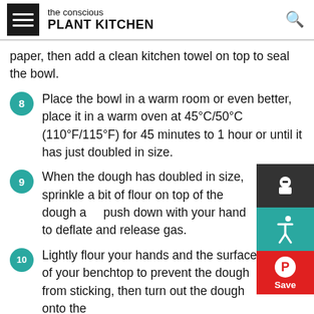the conscious PLANT KITCHEN
paper, then add a clean kitchen towel on top to seal the bowl.
8 Place the bowl in a warm room or even better, place it in a warm oven at 45°C/50°C (110°F/115°F) for 45 minutes to 1 hour or until it has just doubled in size.
9 When the dough has doubled in size, sprinkle a bit of flour on top of the dough and push down with your hand to deflate and release gas.
10 Lightly flour your hands and the surface of your benchtop to prevent the dough from sticking, then turn out the dough onto the